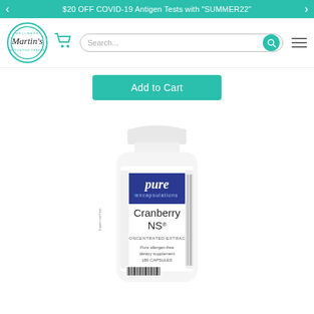$20 OFF COVID-19 Antigen Tests with "SUMMER22"
[Figure (screenshot): Martin's Wellness Pharmacy logo — circular badge with teal border, script 'Martin's' text in center]
[Figure (screenshot): Shopping cart icon in teal]
Search...
[Figure (screenshot): Hamburger menu icon (three horizontal lines)]
Add to Cart
[Figure (photo): White bottle of Pure Encapsulations Cranberry NS concentrated extract dietary supplement, 180 capsules]